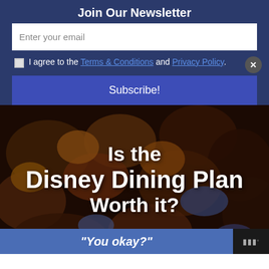Join Our Newsletter
Enter your email
I agree to the Terms & Conditions and Privacy Policy.
Subscribe!
[Figure (photo): Close-up photo of Disney-themed pastries and chocolates in a dark tray, with overlaid white bold text reading 'Is the Disney Dining Plan Worth it?']
“You okay?”